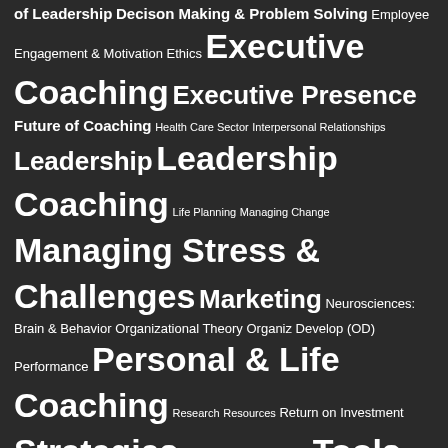of Leadership Decison Making & Problem Solving Employee Engagement & Motivation Ethics Executive Coaching Executive Presence Future of Coaching Health Care Sector Interpersonal Relationships Leadership Leadership Coaching Life Planning Managing Change Managing Stress & Challenges Marketing Neurosciences: Brain & Behavior Organizational Theory Organiz Develop (OD) Performance Personal & Life Coaching Research Resources Return on Investment Strategies Surveys & Questionnaires Tools Tools Transformation Trust
LIBRARY SPONSORS
[Figure (logo): The Professional School of Psychology logo - dark blue background with Greek letter psi symbol and text 'THE PROFESSIONAL SCHOOL OF PSYCHOLOGY - Making a Difference... Changing Lives']
[Figure (other): reCAPTCHA widget - light grey box with reCAPTCHA icon, Privacy text and arrow button]
[Figure (logo): Partially visible sponsor logo with orange/yellow background]